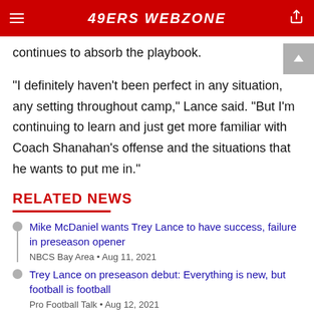49ERS WEBZONE
continues to absorb the playbook.
"I definitely haven't been perfect in any situation, any setting throughout camp," Lance said. "But I'm continuing to learn and just get more familiar with Coach Shanahan's offense and the situations that he wants to put me in."
RELATED NEWS
Mike McDaniel wants Trey Lance to have success, failure in preseason opener
NBCS Bay Area • Aug 11, 2021
Trey Lance on preseason debut: Everything is new, but football is football
Pro Football Talk • Aug 12, 2021